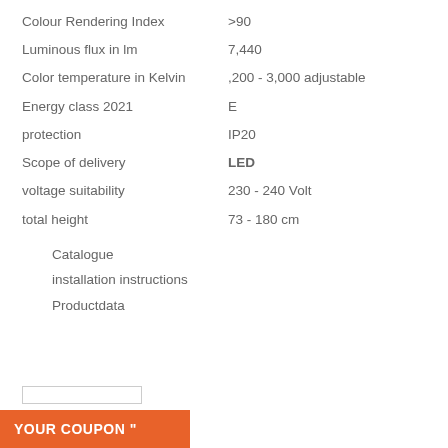| Property | Value |
| --- | --- |
| Colour Rendering Index | >90 |
| Luminous flux in lm | 7,440 |
| Color temperature in Kelvin | ,200 - 3,000 adjustable |
| Energy class 2021 | E |
| protection | IP20 |
| Scope of delivery | LED |
| voltage suitability | 230 - 240 Volt |
| total height | 73 - 180 cm |
Catalogue
installation instructions
Productdata
YOUR COUPON "